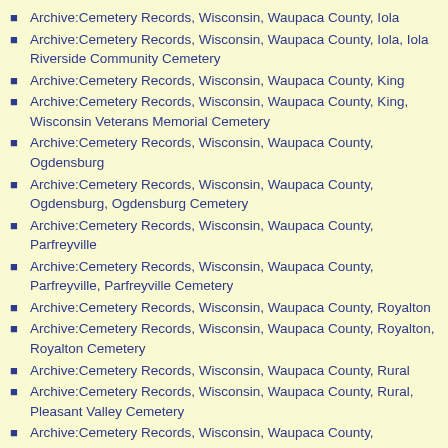Archive:Cemetery Records, Wisconsin, Waupaca County, Iola
Archive:Cemetery Records, Wisconsin, Waupaca County, Iola, Iola Riverside Community Cemetery
Archive:Cemetery Records, Wisconsin, Waupaca County, King
Archive:Cemetery Records, Wisconsin, Waupaca County, King, Wisconsin Veterans Memorial Cemetery
Archive:Cemetery Records, Wisconsin, Waupaca County, Ogdensburg
Archive:Cemetery Records, Wisconsin, Waupaca County, Ogdensburg, Ogdensburg Cemetery
Archive:Cemetery Records, Wisconsin, Waupaca County, Parfreyville
Archive:Cemetery Records, Wisconsin, Waupaca County, Parfreyville, Parfreyville Cemetery
Archive:Cemetery Records, Wisconsin, Waupaca County, Royalton
Archive:Cemetery Records, Wisconsin, Waupaca County, Royalton, Royalton Cemetery
Archive:Cemetery Records, Wisconsin, Waupaca County, Rural
Archive:Cemetery Records, Wisconsin, Waupaca County, Rural, Pleasant Valley Cemetery
Archive:Cemetery Records, Wisconsin, Waupaca County, Scandinavia
Archive:Cemetery Records, Wisconsin, Waupaca County, Scandinavia, Scandinavia Cemetery
Archive:Cemetery Records, Wisconsin, Waupaca County, Symco
Archive:Cemetery Records, Wisconsin, Waupaca County, S...